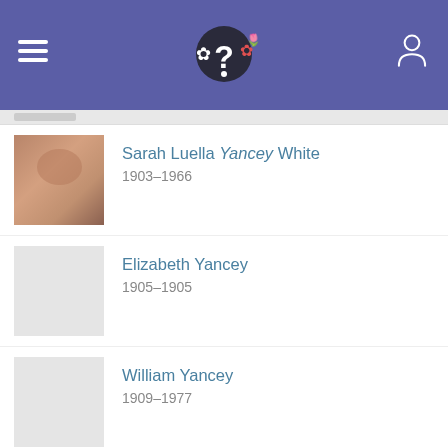App header with menu, logo, and user icon
Sarah Luella Yancey White
1903–1966
Elizabeth Yancey
1905–1905
William Yancey
1909–1977
Ruth Jensen Yancey Beck
1916–2004
Flowers
In their memory
Plant Memorial Trees
Leave a Flower